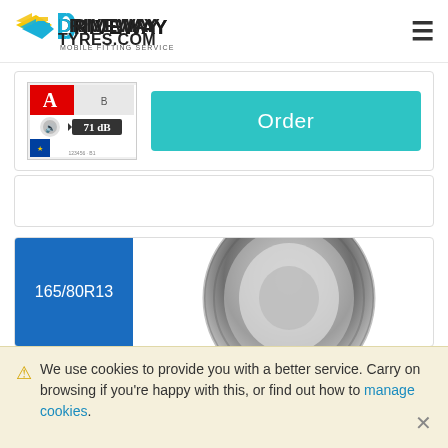DRIVEWAYTYRES.COM MOBILE FITTING SERVICE
[Figure (logo): Driveway Tyres .com mobile fitting service logo with speed arrow graphic]
[Figure (illustration): Tyre EU label showing wet grip rating, fuel efficiency, and noise level 71 dB]
Order
165/80R13
[Figure (photo): Close-up photo of a car tyre tread]
We use cookies to provide you with a better service. Carry on browsing if you're happy with this, or find out how to manage cookies.